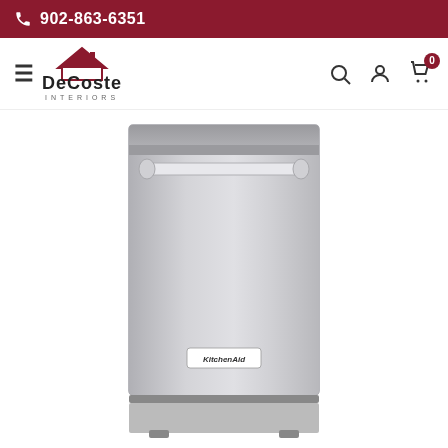902-863-6351
[Figure (logo): DeCoste Interiors logo with house icon and company name]
[Figure (photo): KitchenAid stainless steel dishwasher front view with horizontal bar handle and KitchenAid badge at bottom center]